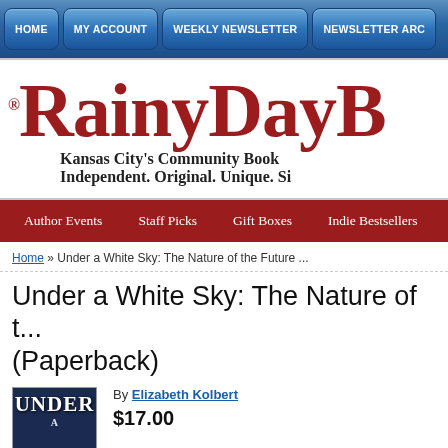HOME   MY ACCOUNT   WEEKLY NEWSLETTER   NEWSLETTER ARC
[Figure (logo): RainyDay B... logo with text 'Kansas City's Community Book... Independent. Original. Unique. Si...']
Author Events   Staff Picks   Gift Boxes   Indie Bestsellers
Home » Under a White Sky: The Nature of the Future ...
Under a White Sky: The Nature of t... (Paperback)
By Elizabeth Kolbert
$17.00